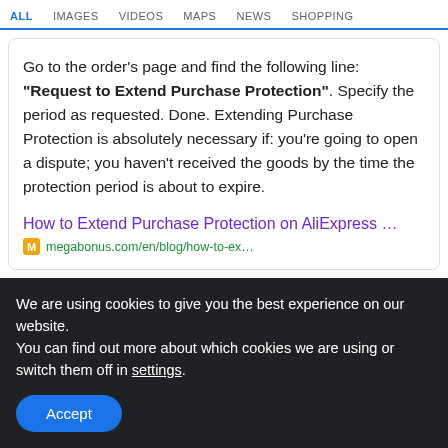ALL  IMAGES  VIDEOS  MAPS  NEWS  SHOPPING
Go to the order's page and find the following line: "Request to Extend Purchase Protection". Specify the period as requested. Done. Extending Purchase Protection is absolutely necessary if: you're going to open a dispute; you haven't received the goods by the time the protection period is about to expire.
How to Extend Purchase Protection on AliExpress ...
megabonus.com/en/blog/how-to-ex...
We are using cookies to give you the best experience on our website.
You can find out more about which cookies we are using or switch them off in settings.
Accept